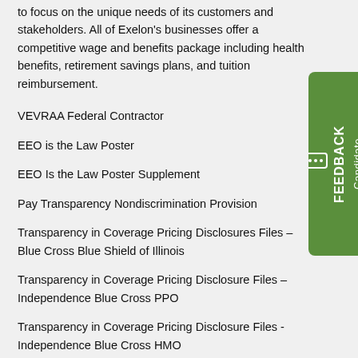to focus on the unique needs of its customers and stakeholders. All of Exelon's businesses offer a competitive wage and benefits package including health benefits, retirement savings plans, and tuition reimbursement.
VEVRAA Federal Contractor
EEO is the Law Poster
EEO Is the Law Poster Supplement
Pay Transparency Nondiscrimination Provision
Transparency in Coverage Pricing Disclosures Files – Blue Cross Blue Shield of Illinois
Transparency in Coverage Pricing Disclosure Files – Independence Blue Cross PPO
Transparency in Coverage Pricing Disclosure Files - Independence Blue Cross HMO